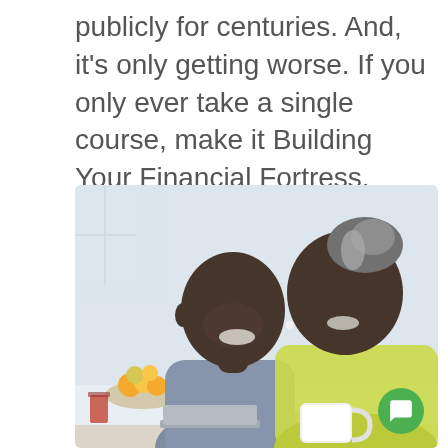publicly for centuries. And, it's only getting worse. If you only ever take a single course, make it Building Your Financial Fortress.
[Figure (photo): A smiling middle-aged Black couple seated at a table, looking at something together. The man wears a gray shirt and the woman wears a yellow top and holds a white mug. A bowl of fruit and food items are visible in the background.]